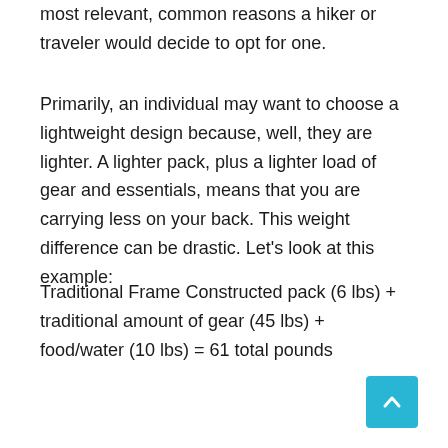most relevant, common reasons a hiker or traveler would decide to opt for one.
Primarily, an individual may want to choose a lightweight design because, well, they are lighter. A lighter pack, plus a lighter load of gear and essentials, means that you are carrying less on your back. This weight difference can be drastic. Let’s look at this example:
Traditional Frame Constructed pack (6 lbs) + traditional amount of gear (45 lbs) + food/water (10 lbs) = 61 total pounds